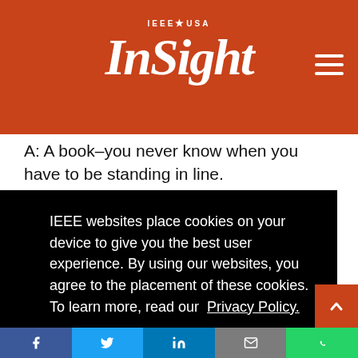IEEE★USA InSight
A: A book–you never know when you have to be standing in line.
Q: What's your favorite food, and why?
IEEE websites place cookies on your device to give you the best user experience. By using our websites, you agree to the placement of these cookies. To learn more, read our Privacy Policy.
Accept & Close